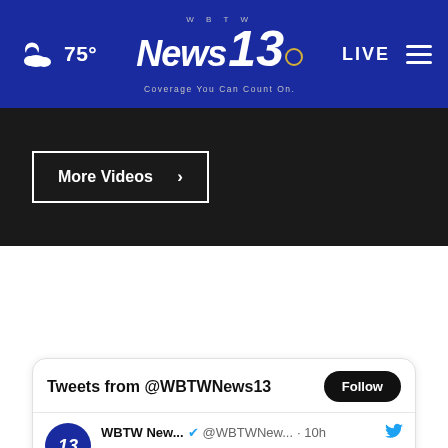75° WBTW News 13 Coverage You Can Count On. LIVE
More Videos ›
Tweets from @WBTWNews13  Follow
WBTW New... @WBTWNew... · 10h